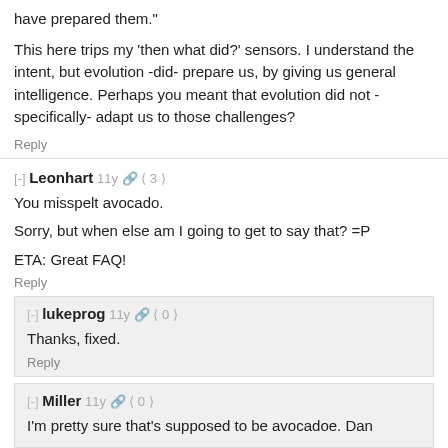have prepared them."
This here trips my 'then what did?' sensors. I understand the intent, but evolution -did- prepare us, by giving us general intelligence. Perhaps you meant that evolution did not -specifically- adapt us to those challenges?
Reply
[-] Leonhart 11y 🔗 < 3 >
You misspelt avocado.
Sorry, but when else am I going to get to say that? =P
ETA: Great FAQ!
Reply
[-] lukeprog 11y 🔗 < 0 >
Thanks, fixed.
Reply
[-] Miller 11y 🔗 < 0 >
I'm pretty sure that's supposed to be avocadoe. Dan